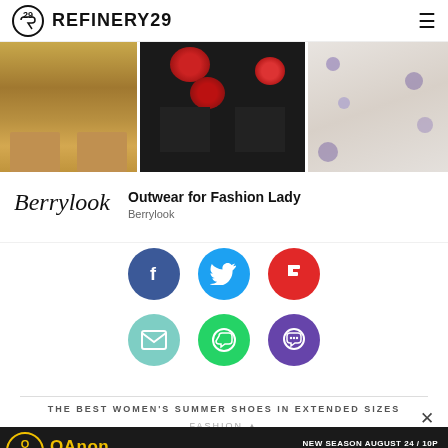REFINERY29
[Figure (photo): Three fashion photos side by side: tan linen pants with sandals, black floral dress lower half, white floral patterned pants lower half]
[Figure (logo): Berrylook script logo]
Outwear for Fashion Lady
Berrylook
[Figure (infographic): Social sharing icons: Facebook (blue circle), Twitter (cyan circle), Flipboard (red circle), Email (teal circle), WhatsApp (green circle), Chat (purple circle)]
THE BEST WOMEN'S SUMMER SHOES IN EXTENDED SIZES
FASHION
[Figure (screenshot): QAnon advertisement banner: 'QAnon The Search for Q NEW SEASON AUGUST 24 / 10P' with Vice TV logo on dark background]